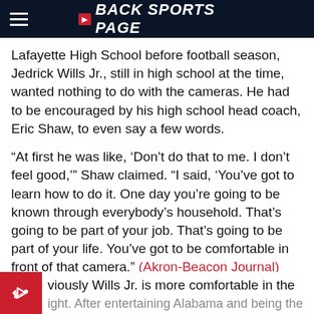BACK SPORTS PAGE
Lafayette High School before football season, Jedrick Wills Jr., still in high school at the time, wanted nothing to do with the cameras. He had to be encouraged by his high school head coach, Eric Shaw, to even say a few words.
“At first he was like, ‘Don’t do that to me. I don’t feel good,’” Shaw claimed. “I said, ‘You’ve got to learn how to do it. One day you’re going to be known through everybody’s household. That’s going to be part of your job. That’s going to be part of your life. You’ve got to be comfortable in front of that camera.” (Akron-Beacon Journal)
viously Wills Jr. is more comfortable in the